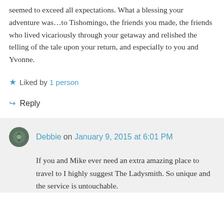seemed to exceed all expectations. What a blessing your adventure was…to Tishomingo, the friends you made, the friends who lived vicariously through your getaway and relished the telling of the tale upon your return, and especially to you and Yvonne.
★ Liked by 1 person
↳ Reply
Debbie on January 9, 2015 at 6:01 PM
If you and Mike ever need an extra amazing place to travel to I highly suggest The Ladysmith. So unique and the service is untouchable.